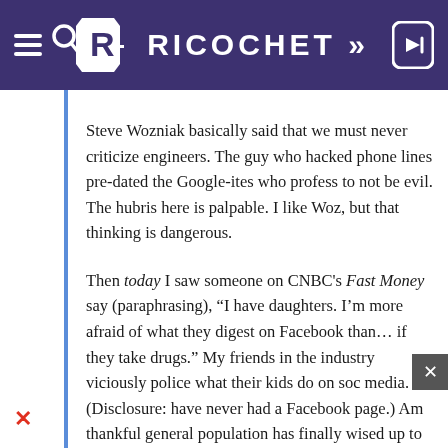RICOCHET
Steve Wozniak basically said that we must never criticize engineers. The guy who hacked phone lines pre-dated the Google-ites who profess to not be evil. The hubris here is palpable. I like Woz, but that thinking is dangerous.
Then today I saw someone on CNBC's Fast Money say (paraphrasing), “I have daughters. I’m more afraid of what they digest on Facebook than… if they take drugs.” My friends in the industry viciously police what their kids do on soc media. (Disclosure: have never had a Facebook page.) Am thankful general population has finally wised up to the idea that people